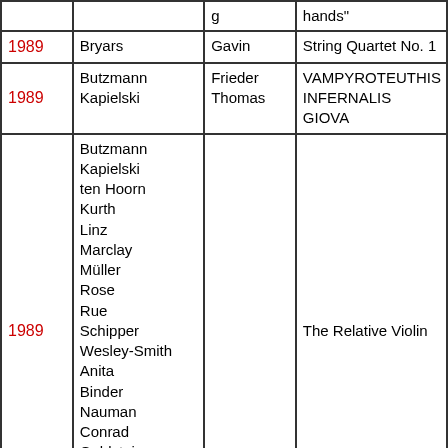| Year | Last Name | First Name | Work |
| --- | --- | --- | --- |
|  |  | g | hands" |
| 1989 | Bryars | Gavin | String Quartet No. 1 |
| 1989 | Butzmann
Kapielski | Frieder
Thomas | VAMPYROTEUTHIS INFERNALIS GIOVA |
| 1989 | Butzmann
Kapielski
ten Hoorn
Kurth
Linz
Marclay
Müller
Rose
Rue
Schipper
Wesley-Smith
Anita
Binder
Nauman
Conrad
Goldstein
Lookofsky
VETA Music Systems |  | The Relative Violin |
| 1989 | Cage | John | Eight Whiskus |